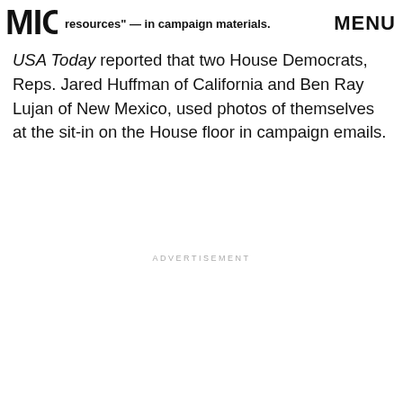resources" — in campaign materials. MENU
USA Today reported that two House Democrats, Reps. Jared Huffman of California and Ben Ray Lujan of New Mexico, used photos of themselves at the sit-in on the House floor in campaign emails.
ADVERTISEMENT